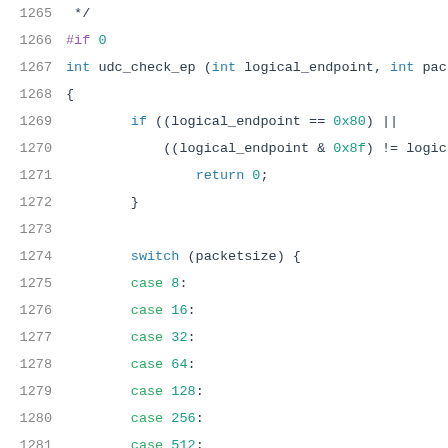[Figure (screenshot): Source code listing showing lines 1265-1286 of a C file with syntax highlighting. Lines show a preprocessor directive #if 0, a function udc_check_ep, an if statement checking logical_endpoint values, a switch statement on packetsize with cases 8, 16, 32, 64, 128, 256, 512 with a break, and a default returning 0.]